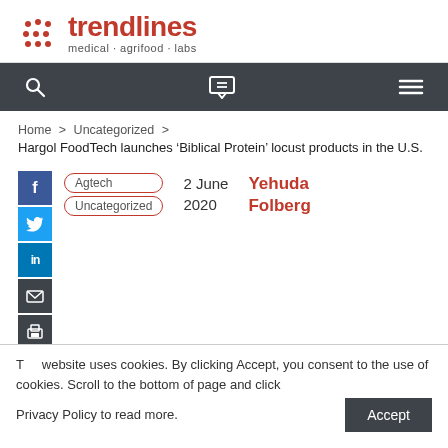[Figure (logo): Trendlines logo with red dot pattern and text 'trendlines medical · agrifood · labs']
Navigation bar with search, chat, and menu icons
Home > Uncategorized > Hargol FoodTech launches ‘Biblical Protein’ locust products in the U.S.
Agtech
Uncategorized
2 June 2020
Yehuda Folberg
Hargol FoodTech launches ‘Biblical Protein’ locust products in the U.S.
This website uses cookies. By clicking Accept, you consent to the use of cookies. Scroll to the bottom of page and click Privacy Policy to read more.